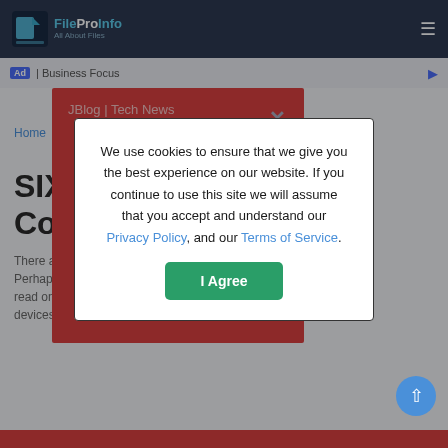FileProInfo – All About Files
[Figure (screenshot): Red promotional banner partially visible behind modal, reading 'JBlog | Tech News' and 'Introducing Our Other Free']
Home
SIX to Convert
There are m... e to GIF. Perhaps th... can b... read on an... to devices that... ng a SIX t...
We use cookies to ensure that we give you the best experience on our website. If you continue to use this site we will assume that you accept and understand our Privacy Policy, and our Terms of Service.